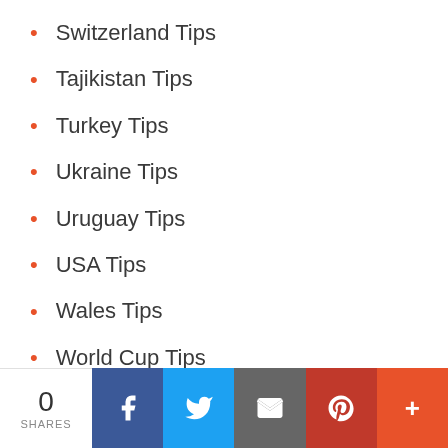Switzerland Tips
Tajikistan Tips
Turkey Tips
Ukraine Tips
Uruguay Tips
USA Tips
Wales Tips
World Cup Tips
0 SHARES | Facebook | Twitter | Email | Pinterest | More